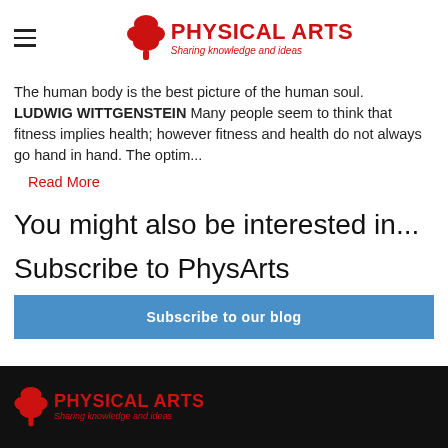PHYSICAL ARTS Sharing knowledge and ideas
The human body is the best picture of the human soul. LUDWIG WITTGENSTEIN Many people seem to think that fitness implies health; however fitness and health do not always go hand in hand. The optim...
Read More
You might also be interested in...
Subscribe to PhysArts
Subscribe to our blog
PHYSICAL ARTS Sharing knowledge and ideas